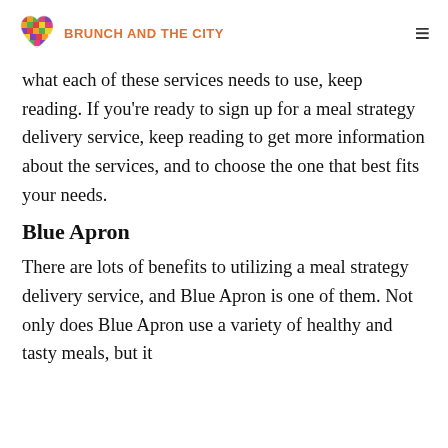BRUNCH AND THE CITY
what each of these services needs to use, keep reading. If you're ready to sign up for a meal strategy delivery service, keep reading to get more information about the services, and to choose the one that best fits your needs.
Blue Apron
There are lots of benefits to utilizing a meal strategy delivery service, and Blue Apron is one of them. Not only does Blue Apron use a variety of healthy and tasty meals, but it